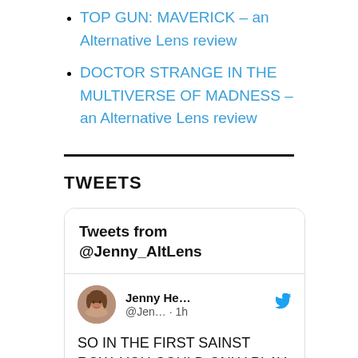TOP GUN: MAVERICK – an Alternative Lens review
DOCTOR STRANGE IN THE MULTIVERSE OF MADNESS – an Alternative Lens review
TWEETS
[Figure (screenshot): Embedded Twitter widget showing tweets from @Jenny_AltLens. Includes a tweet by Jenny He... (@Jen... · 1h) with text: SO IN THE FIRST SAINST ROW, YOU COULD ONLY PLAY AS A MALE CHARACTER, BUT IN]